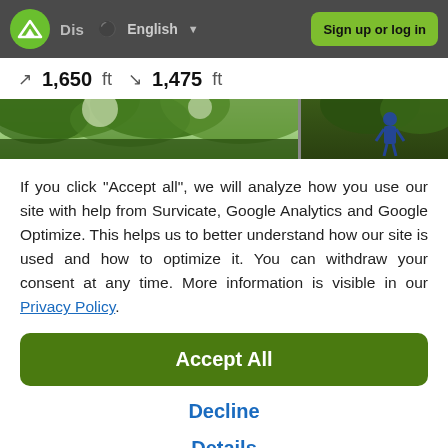Dis  English  Sign up or log in
↗ 1,650 ft  ↘ 1,475 ft
[Figure (photo): Outdoor forest/trail photo strip showing green tree canopy and a hiker]
If you click "Accept all", we will analyze how you use our site with help from Survicate, Google Analytics and Google Optimize. This helps us to better understand how our site is used and how to optimize it. You can withdraw your consent at any time. More information is visible in our Privacy Policy.
Accept All
Decline
Details